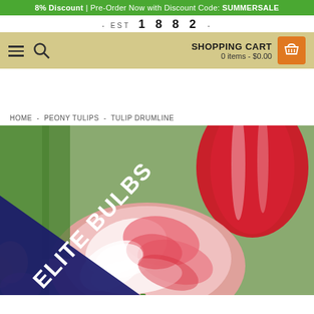8% Discount | Pre-Order Now with Discount Code: SUMMERSALE
- EST 1882 -
SHOPPING CART 0 items - $0.00
HOME - PEONY TULIPS - TULIP DRUMLINE
[Figure (photo): Close-up photograph of red and white peony tulips in bloom, with an 'ELITE BULBS' diagonal banner in dark navy blue across the lower-left corner of the image.]